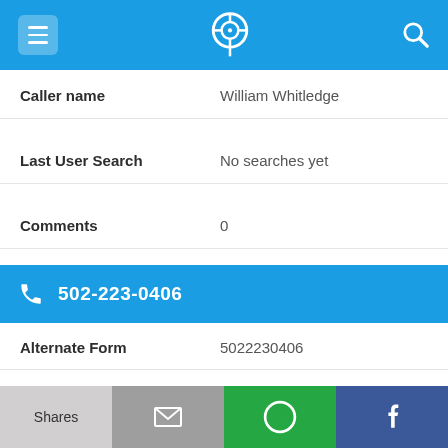Navigation bar with menu, phone-location icon, and search
Caller name: William Whitledge
Last User Search: No searches yet
Comments: 0
502-223-0406
Alternate Form: 5022230406
Caller name: Kenneth Long
Last User Search: No searches yet
Shares | Email | WhatsApp | Facebook